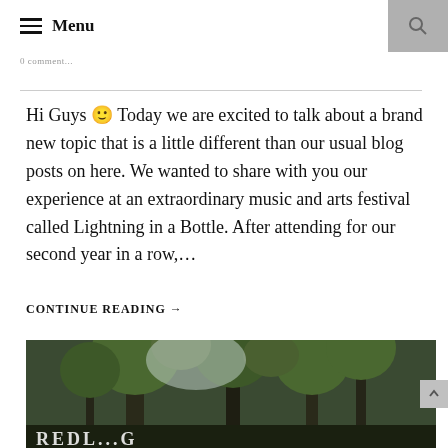≡ Menu
0 comment...
Hi Guys 🙂 Today we are excited to talk about a brand new topic that is a little different than our usual blog posts on here. We wanted to share with you our experience at an extraordinary music and arts festival called Lightning in a Bottle. After attending for our second year in a row,...
CONTINUE READING →
[Figure (photo): Outdoor photo showing tall trees with text overlay at the bottom reading something starting with letters, forest/nature scene]